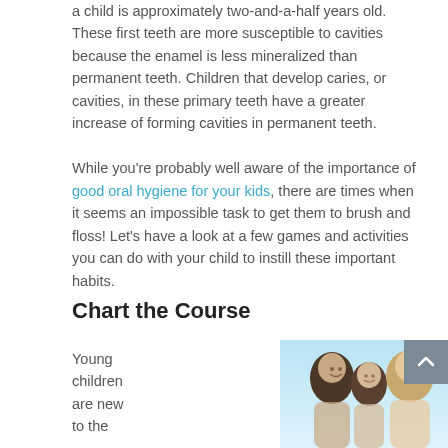a child is approximately two-and-a-half years old. These first teeth are more susceptible to cavities because the enamel is less mineralized than permanent teeth. Children that develop caries, or cavities, in these primary teeth have a greater increase of forming cavities in permanent teeth.
While you're probably well aware of the importance of good oral hygiene for your kids, there are times when it seems an impossible task to get them to brush and floss! Let's have a look at a few games and activities you can do with your child to instill these important habits.
Chart the Course
Young children are new to the
[Figure (photo): A smiling family — father, young child, and mother — photographed together against a light blue background.]